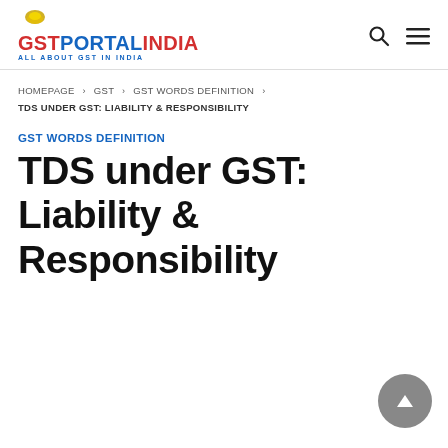GSTPORTALINDIA — ALL ABOUT GST IN INDIA
HOMEPAGE › GST › GST WORDS DEFINITION › TDS UNDER GST: LIABILITY & RESPONSIBILITY
GST WORDS DEFINITION
TDS under GST: Liability & Responsibility